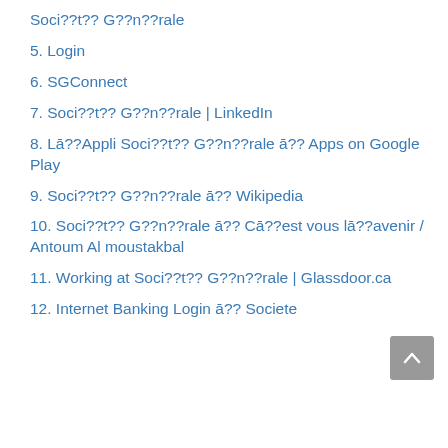Soci??t?? G??n??rale
5. Login
6. SGConnect
7. Soci??t?? G??n??rale | LinkedIn
8. Lā??Appli Soci??t?? G??n??rale ā?? Apps on Google Play
9. Soci??t?? G??n??rale ā?? Wikipedia
10. Soci??t?? G??n??rale ā?? Cā??est vous lā??avenir / Antoum Al moustakbal
11. Working at Soci??t?? G??n??rale | Glassdoor.ca
12. Internet Banking Login ā?? Societe